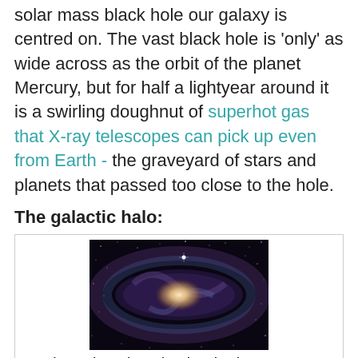solar mass black hole our galaxy is centred on. The vast black hole is 'only' as wide across as the orbit of the planet Mercury, but for half a lightyear around it is a swirling doughnut of superhot gas that X-ray telescopes can pick up even from Earth - the graveyard of stars and planets that passed too close to the hole.
The galactic halo:
[Figure (photo): The Andromeda galaxy in a long exposure photograph showing spiral structure with bright core and extended purple/blue halo, stars visible in background.]
Above: The Andromeda galaxy, in a long exposure photograph that brings out otherwise invisible details. Our galaxy might look similar, from outside. Courtesy of Brian Snyder.
The galactic halo is pretty lonely place. I'm well outside the galactic bulge and the disk, which are